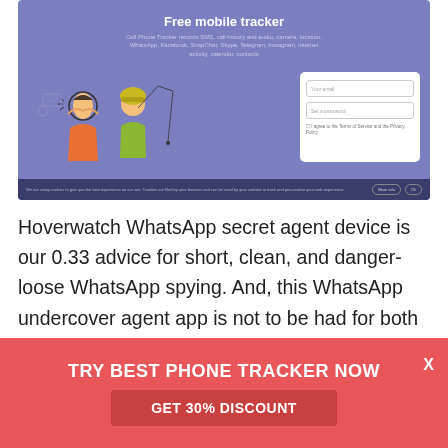[Figure (screenshot): Screenshot of a website called 'Free mobile tracker' (Hoverwatch) with purple/blue background, showing a headline, subtitle text, cartoon illustration of two people, a signup form box with email/password fields, and a cookie consent bar at the bottom.]
Hoverwatch WhatsApp secret agent device is our 0.33 advice for short, clean, and danger-loose WhatsApp spying. And, this WhatsApp undercover agent app is not to be had for both Android and iOS gadgets – it really works most effective if you have an Android tool. It can
TRY BEST PHONE TRACKER NOW
GET 30% DISCOUNT